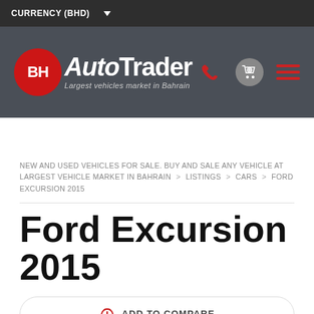CURRENCY (BHD)
[Figure (logo): BH AutoTrader logo — red circle with BH text, AutoTrader in white bold italic, tagline: Largest vehicles market in Bahrain]
NEW AND USED VEHICLES FOR SALE. BUY AND SALE ANY VEHICLE AT LARGEST VEHICLE MARKET IN BAHRAIN > LISTINGS > CARS > FORD EXCURSION 2015
Ford Excursion 2015
ADD TO COMPARE